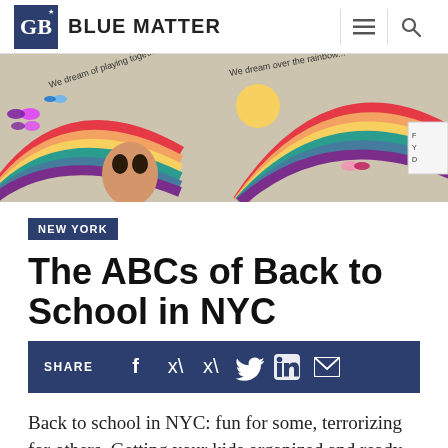BLUE MATTER
[Figure (photo): Colorful school mural painting on a wall with rainbows, butterflies, and a child's face. Text on mural reads: 'We dream of playing together in peace.' and 'We dream over the rainbow...']
NEW YORK
The ABCs of Back to School in NYC
SHARE
Back to school in NYC: fun for some, terrorizing for others. Getting your kids organized and ready to start a new school